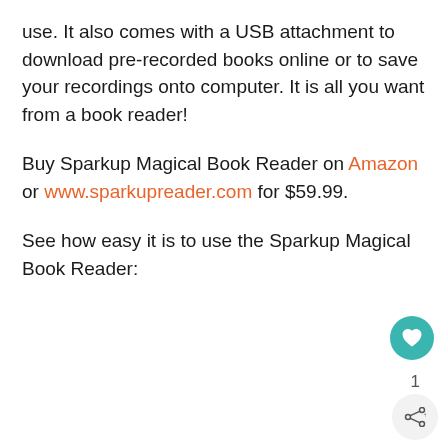use. It also comes with a USB attachment to download pre-recorded books online or to save your recordings onto computer. It is all you want from a book reader!
Buy Sparkup Magical Book Reader on Amazon or www.sparkupreader.com for $59.99.
See how easy it is to use the Sparkup Magical Book Reader: